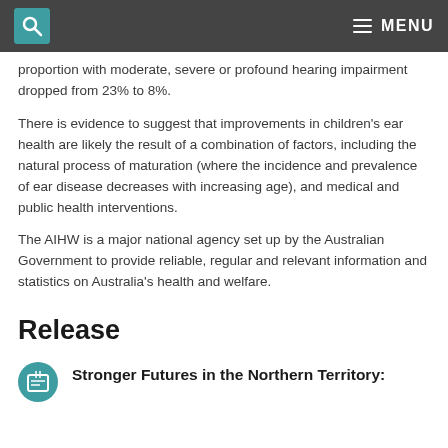MENU
proportion with moderate, severe or profound hearing impairment dropped from 23% to 8%.
There is evidence to suggest that improvements in children's ear health are likely the result of a combination of factors, including the natural process of maturation (where the incidence and prevalence of ear disease decreases with increasing age), and medical and public health interventions.
The AIHW is a major national agency set up by the Australian Government to provide reliable, regular and relevant information and statistics on Australia's health and welfare.
Release
Stronger Futures in the Northern Territory: